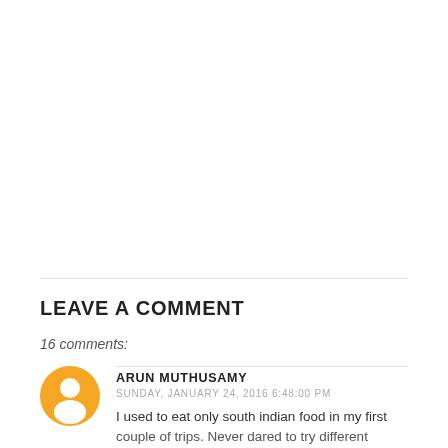LEAVE A COMMENT
16 comments:
ARUN MUTHUSAMY
SUNDAY, JANUARY 24, 2016 6:48:00 PM
I used to eat only south indian food in my first